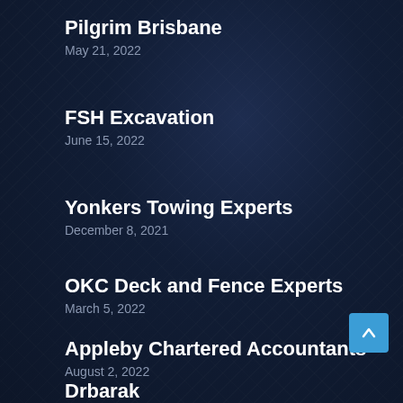Pilgrim Brisbane
May 21, 2022
FSH Excavation
June 15, 2022
Yonkers Towing Experts
December 8, 2021
OKC Deck and Fence Experts
March 5, 2022
Appleby Chartered Accountants
August 2, 2022
Drbarak